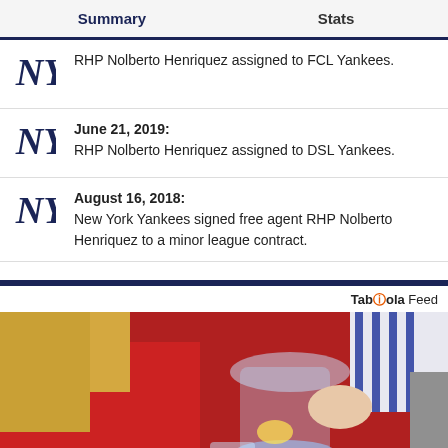Summary  Stats
RHP Nolberto Henriquez assigned to FCL Yankees.
June 21, 2019: RHP Nolberto Henriquez assigned to DSL Yankees.
August 16, 2018: New York Yankees signed free agent RHP Nolberto Henriquez to a minor league contract.
[Figure (photo): Person in red jacket pouring water from a glass pitcher into a glass, Taboola Feed advertisement]
Taboola Feed